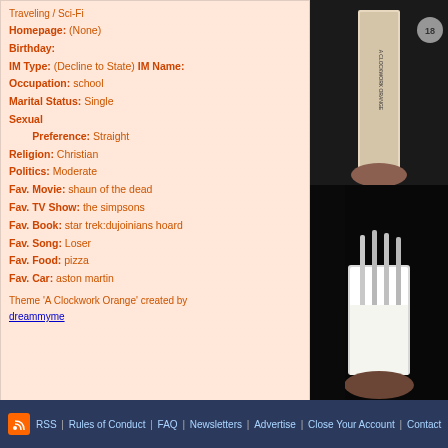Traveling / Sci-Fi
Homepage: (None)
Birthday:
IM Type: (Decline to State) IM Name:
Occupation: school
Marital Status: Single
Sexual Preference: Straight
Religion: Christian
Politics: Moderate
Fav. Movie: shaun of the dead
Fav. TV Show: the simpsons
Fav. Book: star trek:dujoinians hoard
Fav. Song: Loser
Fav. Food: pizza
Fav. Car: aston martin
Theme 'A Clockwork Orange' created by dreammyme
[Figure (photo): Top-right: DVD/book spine on dark background]
[Figure (photo): Bottom-right: Glass of milk in dark scene]
RSS | Rules of Conduct | FAQ | Newsletters | Advertise | Close Your Account | Contact